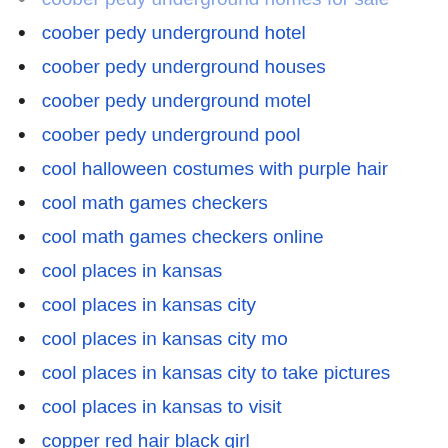coober pedy underground homes for sale
coober pedy underground hotel
coober pedy underground houses
coober pedy underground motel
coober pedy underground pool
cool halloween costumes with purple hair
cool math games checkers
cool math games checkers online
cool places in kansas
cool places in kansas city
cool places in kansas city mo
cool places in kansas city to take pictures
cool places in kansas to visit
copper red hair black girl
cordless travel hair straighteners